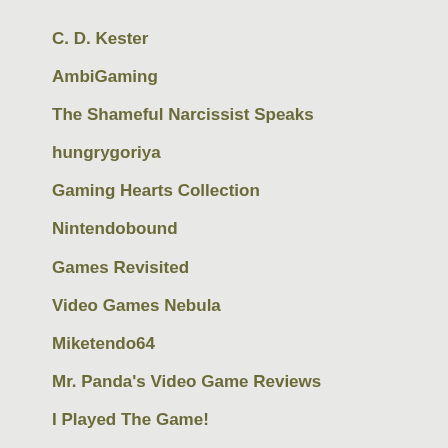C. D. Kester
AmbiGaming
The Shameful Narcissist Speaks
hungrygoriya
Gaming Hearts Collection
Nintendobound
Games Revisited
Video Games Nebula
Miketendo64
Mr. Panda's Video Game Reviews
I Played The Game!